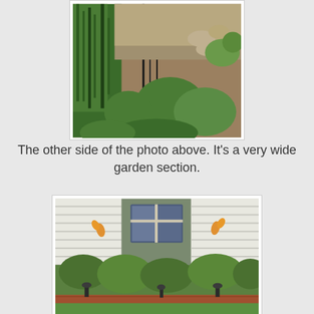[Figure (photo): Garden bed showing lush green plants, tall grass-like foliage on the left, leafy plants in the center and right, with bare soil/mulch visible. Natural outdoor daylight setting.]
The other side of the photo above. It's a very wide garden section.
[Figure (photo): Front of a house with white horizontal siding and a window visible. A garden bed in front contains various green plants, daylilies with orange blooms, and small landscape lighting fixtures along the brick edging.]